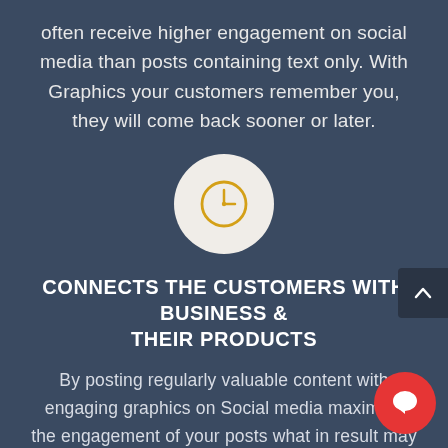often receive higher engagement on social media than posts containing text only. With Graphics your customers remember you, they will come back sooner or later.
[Figure (illustration): A white circle icon containing a golden/yellow clock icon on a dark blue-grey background]
CONNECTS THE CUSTOMERS WITH BUSINESS & THEIR PRODUCTS
By posting regularly valuable content with engaging graphics on Social media maximise the engagement of your posts what in result may increase your website traffic and sales.